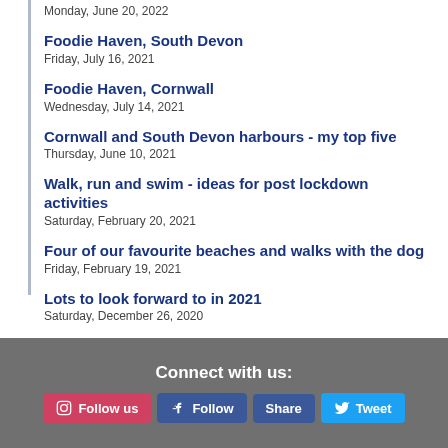Monday, June 20, 2022
Foodie Haven, South Devon
Friday, July 16, 2021
Foodie Haven, Cornwall
Wednesday, July 14, 2021
Cornwall and South Devon harbours - my top five
Thursday, June 10, 2021
Walk, run and swim - ideas for post lockdown activities
Saturday, February 20, 2021
Four of our favourite beaches and walks with the dog
Friday, February 19, 2021
Lots to look forward to in 2021
Saturday, December 26, 2020
Connect with us:
Follow us  Follow  Share  Tweet